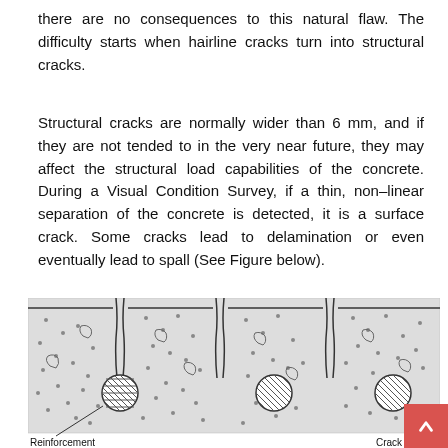there are no consequences to this natural flaw. The difficulty starts when hairline cracks turn into structural cracks.
Structural cracks are normally wider than 6 mm, and if they are not tended to in the very near future, they may affect the structural load capabilities of the concrete. During a Visual Condition Survey, if a thin, non–linear separation of the concrete is detected, it is a surface crack. Some cracks lead to delamination or even eventually lead to spall (See Figure below).
[Figure (illustration): Engineering diagram showing a cross-section of concrete with cracks extending from the surface down to reinforcement bars. The diagram shows three vertical cracks from the surface, three circular cross-hatched reinforcement bars, aggregate particles (dots and irregular shapes) scattered throughout the concrete. Labels at bottom-left read 'Reinforcement' and at bottom-right read 'Crack'.]